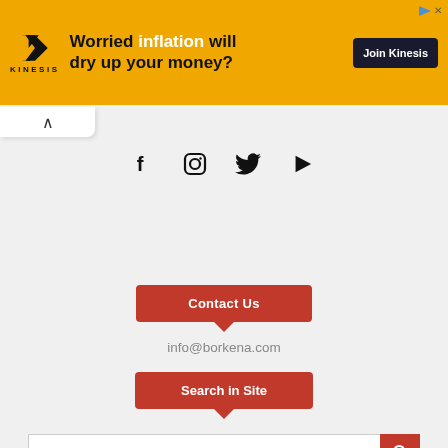[Figure (infographic): Kinesis advertisement banner with gold background. Logo on left, headline 'Worried inflation will dry up your money?' in center, dark 'Join Kinesis' button on right.]
[Figure (infographic): Social media icons row: Facebook (f), Instagram (camera), Twitter (bird), YouTube (play button)]
Contact Us
info@borkena.com
Search in Site
[Figure (infographic): Search input field with red search button on the right]
© 2021, ↑ Borkena Ethiopian News
Photography   Scholarships   Disclaimer   Sitemap